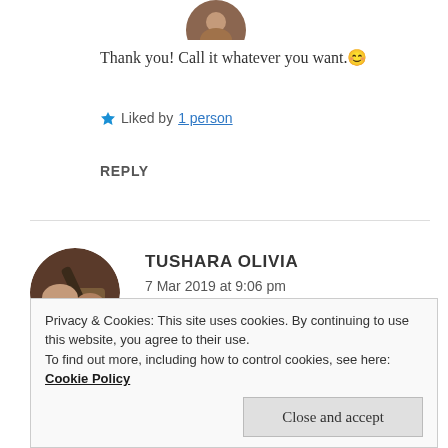[Figure (photo): Circular avatar photo of a person, partially visible at top]
Thank you! Call it whatever you want. 😊
★ Liked by 1 person
REPLY
[Figure (photo): Circular avatar photo of Tushara Olivia, showing a hand holding a pen writing]
TUSHARA OLIVIA
7 Mar 2019 at 9:06 pm
Awesome dear 😍 😍
Privacy & Cookies: This site uses cookies. By continuing to use this website, you agree to their use.
To find out more, including how to control cookies, see here: Cookie Policy
Close and accept